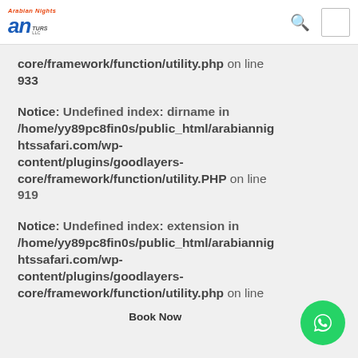Arabian Nights Tours LLC
core/framework/function/utility.php on line 933
Notice: Undefined index: dirname in /home/yy89pc8fin0s/public_html/arabiannightssafari.com/wp-content/plugins/goodlayers-core/framework/function/utility.PHP on line 919
Notice: Undefined index: extension in /home/yy89pc8fin0s/public_html/arabiannightssafari.com/wp-content/plugins/goodlayers-core/framework/function/utility.php on line
Book Now